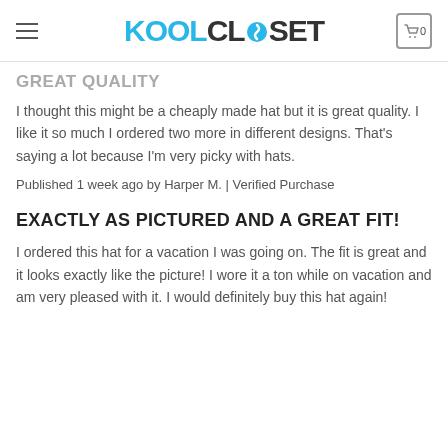KOOLCLOSET
GREAT QUALITY
I thought this might be a cheaply made hat but it is great quality. I like it so much I ordered two more in different designs. That's saying a lot because I'm very picky with hats.
Published 1 week ago by Harper M. | Verified Purchase
EXACTLY AS PICTURED AND A GREAT FIT!
I ordered this hat for a vacation I was going on. The fit is great and it looks exactly like the picture! I wore it a ton while on vacation and am very pleased with it. I would definitely buy this hat again!